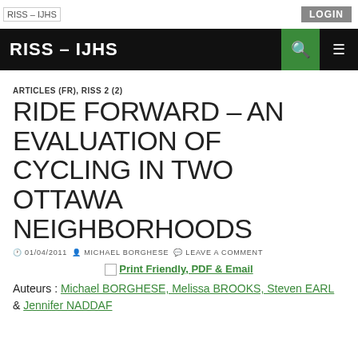RISS – IJHS | LOGIN
RISS – IJHS
ARTICLES (FR), RISS 2 (2)
RIDE FORWARD – AN EVALUATION OF CYCLING IN TWO OTTAWA NEIGHBORHOODS
01/04/2011  MICHAEL BORGHESE  LEAVE A COMMENT
Print Friendly, PDF & Email
Auteurs : Michael BORGHESE, Melissa BROOKS, Steven EARL & Jennifer NADDAF